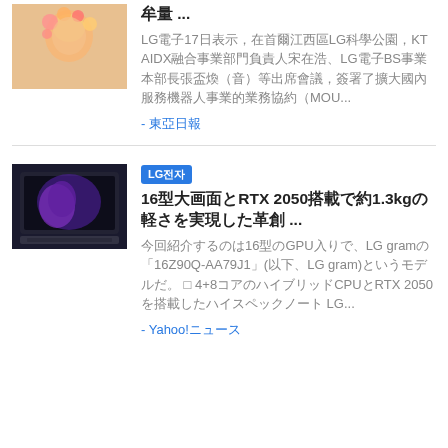[Figure (photo): Person with flowers/floral decorations, partial view at top]
牟量 ...
LG電子17日表示，在首爾江西區LG科學公園，KT AIDX融合事業部門負責人宋在浩、LG電子BS事業本部長張盃煥（音）等出席會議，簽署了擴大國內服務機器人事業的業務協約（MOU...
- 東亞日報
[Figure (photo): LG gram laptop computer, dark colored, angled view showing screen with purple/blue design]
LG전자
16型大画面とRTX 2050搭載で約1.3kgの軽さを実現した革創 ...
今回紹介するのは16型のGPU入りで、LG gramの「16Z90Q-AA79J1」(以下、LG gram)というモデルだ。 □ 4+8コアのハイブリッドCPUとRTX 2050を搭載したハイスペックノート LG...
- Yahoo!ニュース